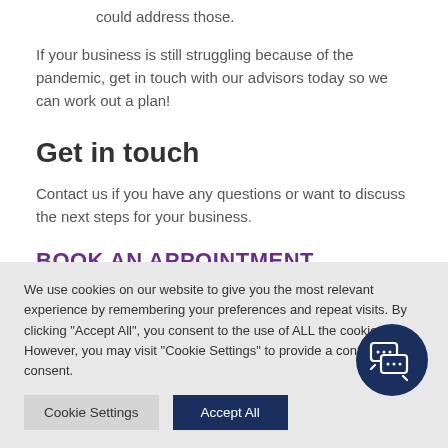could address those.
If your business is still struggling because of the pandemic, get in touch with our advisors today so we can work out a plan!
Get in touch
Contact us if you have any questions or want to discuss the next steps for your business.
BOOK AN APPOINTMENT
We use cookies on our website to give you the most relevant experience by remembering your preferences and repeat visits. By clicking "Accept All", you consent to the use of ALL the cookies. However, you may visit "Cookie Settings" to provide a controlled consent.
[Figure (other): Chat bubble icon in dark navy circle]
Cookie Settings
Accept All